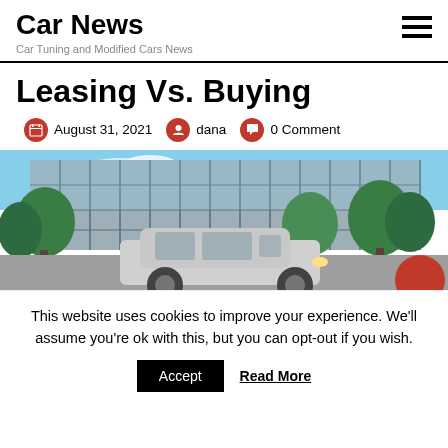Car News
Car Tuning and Modified Cars News
Leasing Vs. Buying
August 31, 2021  dana  0 Comment
[Figure (photo): A silver SUV parked in front of a modern glass building with trees, partially visible cookie consent overlay at the bottom]
This website uses cookies to improve your experience. We'll assume you're ok with this, but you can opt-out if you wish.
Accept  Read More